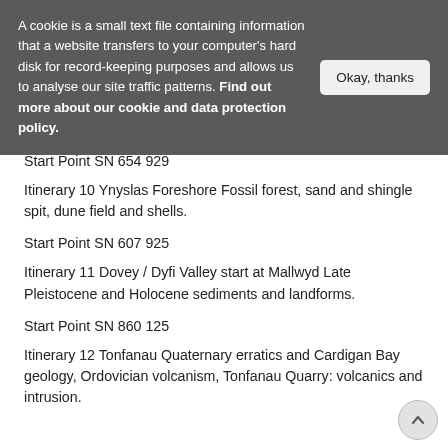A cookie is a small text file containing information that a website transfers to your computer's hard disk for record-keeping purposes and allows us to analyse our site traffic patterns. Find out more about our cookie and data protection policy.
Okay, thanks
Start Point SN 654 929
Itinerary 10 Ynyslas Foreshore Fossil forest, sand and shingle spit, dune field and shells.
Start Point SN 607 925
Itinerary 11 Dovey / Dyfi Valley start at Mallwyd Late Pleistocene and Holocene sediments and landforms.
Start Point SN 860 125
Itinerary 12 Tonfanau Quaternary erratics and Cardigan Bay geology, Ordovician volcanism, Tonfanau Quarry: volcanics and intrusion.